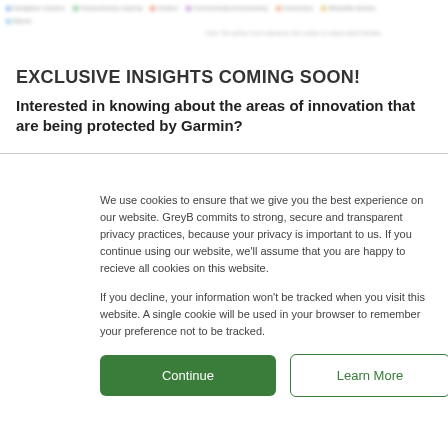[Figure (other): Blurred legend with colored dots and labels at top of page, partially visible chart elements]
EXCLUSIVE INSIGHTS COMING SOON!
Interested in knowing about the areas of innovation that are being protected by Garmin?
We use cookies to ensure that we give you the best experience on our website. GreyB commits to strong, secure and transparent privacy practices, because your privacy is important to us. If you continue using our website, we'll assume that you are happy to recieve all cookies on this website.
If you decline, your information won't be tracked when you visit this website. A single cookie will be used in your browser to remember your preference not to be tracked.
Continue | Learn More